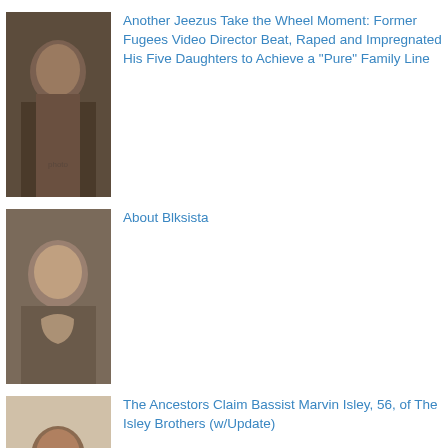[Figure (photo): Photo of a man]
Another Jeezus Take the Wheel Moment: Former Fugees Video Director Beat, Raped and Impregnated His Five Daughters to Achieve a "Pure" Family Line
[Figure (photo): Photo of a woman smiling]
About Blksista
[Figure (photo): Photo of a man in a suit]
The Ancestors Claim Bassist Marvin Isley, 56, of The Isley Brothers (w/Update)
[Figure (photo): Photo of two people]
Another View of Bradley Lockhart, Shaniya's Father: He Was a Negligent Father (w/Update)
[Figure (photo): Photo thumbnail]
This Just In: Mario McNeill and Antoinette Davis